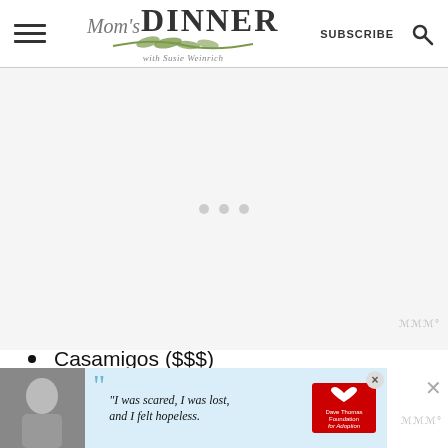Mom's DINNER with Susie Weinrich — SUBSCRIBE
[Figure (other): Advertisement placeholder area with three light gray loading dots centered on a light gray background]
Casamigos ($$$)
Cazadores ($$$)
[Figure (other): Dave Thomas Foundation for Adoption advertisement banner with woman photo and quote: I was scared, I was lost, and I felt hopeless.]